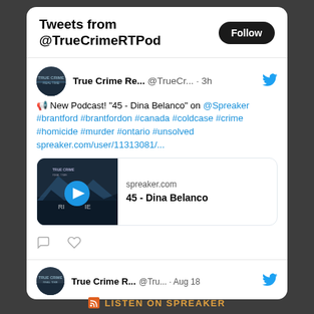Tweets from @TrueCrimeRTPod
True Crime Re... @TrueCr... · 3h
📢 New Podcast! "45 - Dina Belanco" on @Spreaker #brantford #brantfordon #canada #coldcase #crime #homicide #murder #ontario #unsolved spreaker.com/user/11313081/...
[Figure (screenshot): Podcast card with play button showing spreaker.com / 45 - Dina Belanco]
True Crime R... @Tru... · Aug 18
LISTEN ON SPREAKER